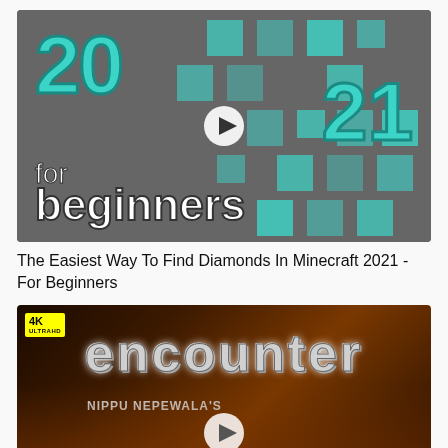[Figure (screenshot): Minecraft tutorial video thumbnail showing teal pixelated diamond blocks on grey background with '20 21' in large teal text and 'for beginners' in white text, with a play button overlay]
The Easiest Way To Find Diamonds In Minecraft 2021 - For Beginners
[Figure (screenshot): Movie/short film thumbnail for 'ENCOUNTER' by NIPPU NEPEWALA'S, with 4K Ultra HD badge, dark fiery background with action scene, large metallic styled title text, and a play button overlay]